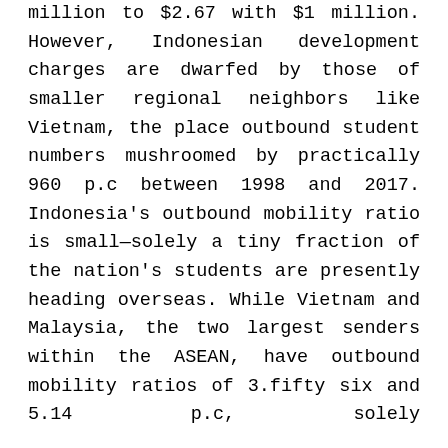million to $2.67 with $1 million. However, Indonesian development charges are dwarfed by those of smaller regional neighbors like Vietnam, the place outbound student numbers mushroomed by practically 960 p.c between 1998 and 2017. Indonesia's outbound mobility ratio is small—solely a tiny fraction of the nation's students are presently heading overseas. While Vietnam and Malaysia, the two largest senders within the ASEAN, have outbound mobility ratios of 3.fifty six and 5.14 p.c, solely zero.57 {1cc9e4967c6bb74f5d800f960467f35481fe661b96b7369f38 of Indonesia's tertiary college students are studying overseas, the second-lowest percentage among all ASEAN member states after the Philippines. This discrepancy is much more pronounced in the case of smaller international locations like Singapore and